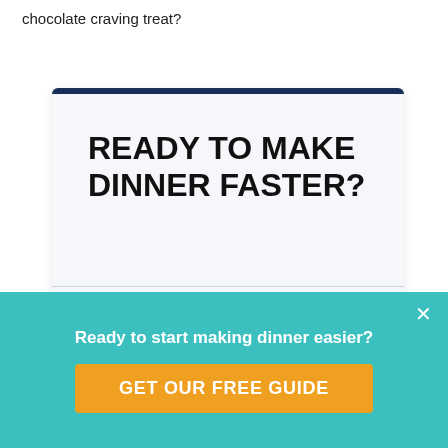chocolate craving treat?
READY TO MAKE DINNER FASTER?
[Figure (illustration): Book cover showing 'Quick & Easy Dinners Starter Guide' with a blue sky background and a burger at the bottom]
Our helpful dinner
Ready to start making dinner easier?
GET OUR FREE GUIDE